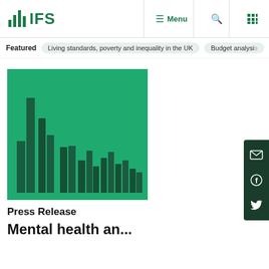IFS — Menu | Search | Grid
Featured | Living standards, poverty and inequality in the UK | Budget analysis
[Figure (bar-chart): Green background bar chart with dark green bars of varying heights, decorative/illustrative chart on IFS website]
Press Release
Mental health an...